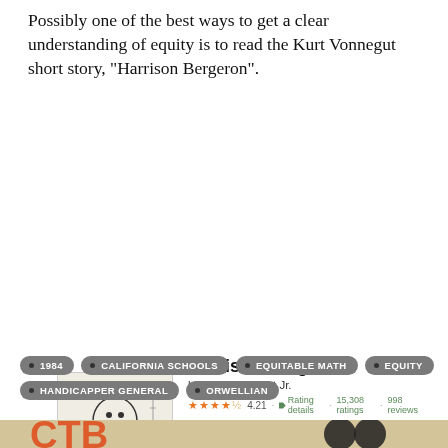Possibly one of the best ways to get a clear understanding of equity is to read the Kurt Vonnegut short story, “Harrison Bergeron”.
[Figure (screenshot): Goodreads book listing for 'Harrison Bergeron' by Kurt Vonnegut Jr., showing book cover illustration, rating of 4.21 stars with 15,308 ratings and 998 reviews, and a description of the story. Includes 'Want to Read' button.]
1984
CALIFORNIA SCHOOLS
EQUITABLE MATH
EQUITY
HANDICAPPER GENERAL
ORWELLIAN
[Figure (photo): Partial image at bottom of page showing large orange/red letters on a light background, partially cropped.]